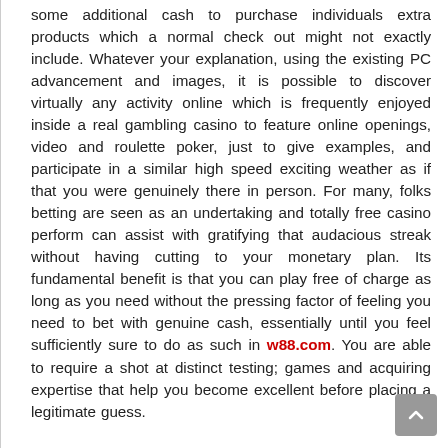some additional cash to purchase individuals extra products which a normal check out might not exactly include. Whatever your explanation, using the existing PC advancement and images, it is possible to discover virtually any activity online which is frequently enjoyed inside a real gambling casino to feature online openings, video and roulette poker, just to give examples, and participate in a similar high speed exciting weather as if that you were genuinely there in person. For many, folks betting are seen as an undertaking and totally free casino perform can assist with gratifying that audacious streak without having cutting to your monetary plan. Its fundamental benefit is that you can play free of charge as long as you need without the pressing factor of feeling you need to bet with genuine cash, essentially until you feel sufficiently sure to do as such in w88.com. You are able to require a shot at distinct testing; games and acquiring expertise that help you become excellent before placing a legitimate guess.